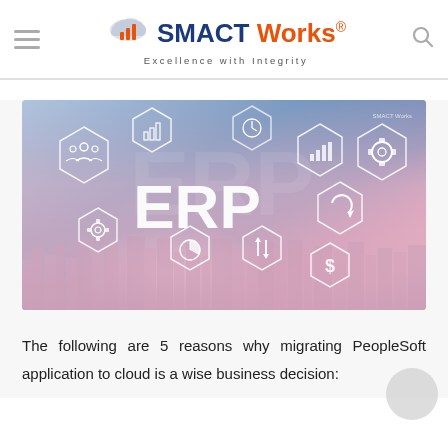SMACT Works® — Excellence with Integrity
[Figure (illustration): ERP concept banner image with hexagonal icons showing people, charts, gears, pie chart, dollar sign, and the large text 'ERP' in the center. Blue/purple/pink gradient background with a city skyline at the bottom. SMACT Works logo in top-right corner.]
The following are 5 reasons why migrating PeopleSoft application to cloud is a wise business decision: